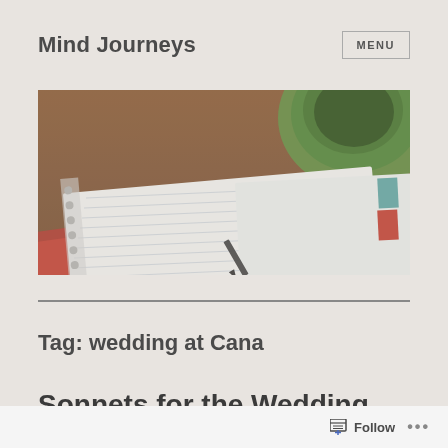Mind Journeys
[Figure (photo): Top-down photograph of a spiral-bound notebook with ruled pages, a red folder/cover visible beneath, and a dark green cup/bowl partially visible in the upper right corner, on a wooden surface. Vintage/desaturated filter applied.]
Tag: wedding at Cana
Sonnets for the Wedding
Follow ...